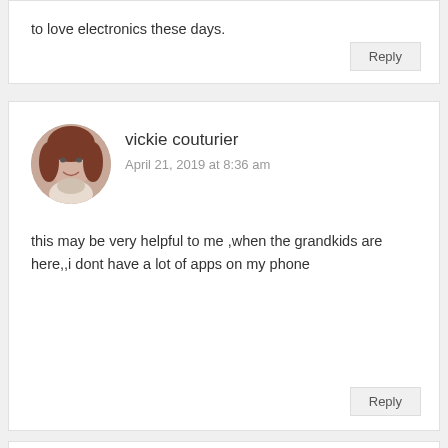to love electronics these days.
Reply
vickie couturier
April 21, 2019 at 8:36 am
this may be very helpful to me ,when the grandkids are here,,i dont have a lot of apps on my phone
Reply